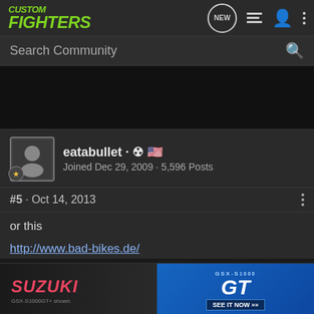CUSTOM FIGHTERS
Search Community
eatabullet · ☢ 🇺🇸
Joined Dec 29, 2009 · 5,596 Posts
#5 · Oct 14, 2013
or this
http://www.bad-bikes.de/
[Figure (photo): Suzuki GSX-S1000GT advertisement banner showing motorcycle and GSX-S1000 GT logo with 'SEE IT NOW' call to action]